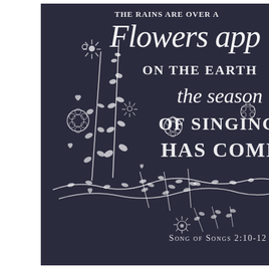[Figure (illustration): Chalkboard art illustration with white chalk lettering and botanical drawings. Text reads: 'THE RAINS ARE OVER A... Flowers app... ON THE EARTH the season OF SINGING HAS COME SONG OF SONGS 2:10-12'. Decorated with white chalk botanical drawings of flowers, leaves, stems, and floral sprigs arranged around and below the text.]